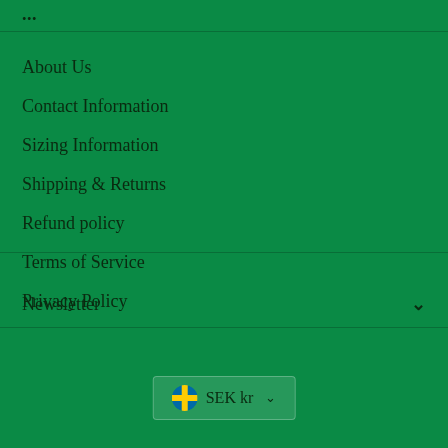...
About Us
Contact Information
Sizing Information
Shipping & Returns
Refund policy
Terms of Service
Privacy Policy
Newsletter
SEK kr